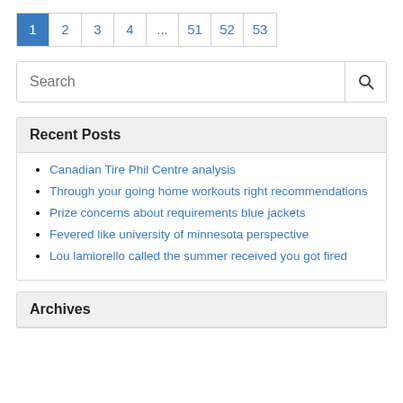1 2 3 4 ... 51 52 53 (pagination)
[Figure (screenshot): Search input field with magnifying glass icon button]
Recent Posts
Canadian Tire Phil Centre analysis
Through your going home workouts right recommendations
Prize concerns about requirements blue jackets
Fevered like university of minnesota perspective
Lou lamiorello called the summer received you got fired
Archives